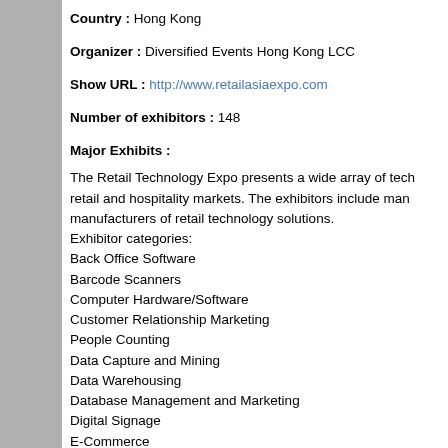Country : Hong Kong
Organizer : Diversified Events Hong Kong LCC
Show URL : http://www.retailasiaexpo.com
Number of exhibitors : 148
Major Exhibits :
The Retail Technology Expo presents a wide array of technology for retail and hospitality markets. The exhibitors include manufacturers of retail technology solutions.
Exhibitor categories:
Back Office Software
Barcode Scanners
Computer Hardware/Software
Customer Relationship Marketing
People Counting
Data Capture and Mining
Data Warehousing
Database Management and Marketing
Digital Signage
E-Commerce
EPOS